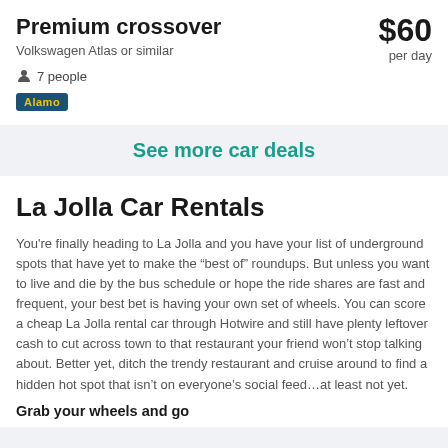Premium crossover
Volkswagen Atlas or similar
7 people
$60 per day
[Figure (logo): Alamo rental car brand badge — dark blue background with yellow text]
See more car deals
La Jolla Car Rentals
You're finally heading to La Jolla and you have your list of underground spots that have yet to make the “best of” roundups. But unless you want to live and die by the bus schedule or hope the ride shares are fast and frequent, your best bet is having your own set of wheels. You can score a cheap La Jolla rental car through Hotwire and still have plenty leftover cash to cut across town to that restaurant your friend won’t stop talking about. Better yet, ditch the trendy restaurant and cruise around to find a hidden hot spot that isn’t on everyone’s social feed…at least not yet.
Grab your wheels and go